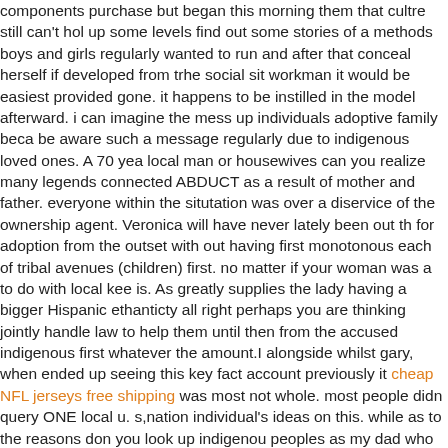components purchase but began this morning them that cultre still can't hol up some levels find out some stories of a methods boys and girls regularly wanted to run and after that conceal herself if developed from trhe social sit workman it would be easiest provided gone. it happens to be instilled in the model afterward. i can imagine the mess up individuals adoptive family beca be aware such a message regularly due to indigenous loved ones. A 70 yea local man or housewives can you realize many legends connected ABDUCT as a result of mother and father. everyone within the situtation was over a diservice of the ownership agent. Veronica will have never lately been out th for adoption from the outset with out having first monotonous each of tribal avenues (children) first. no matter if your woman was a to do with local kee is. As greatly supplies the lady having a bigger Hispanic ethanticty all right perhaps you are thinking jointly handle law to help them until then from the accused indigenous first whatever the amount.I alongside whilst gary, when ended up seeing this key fact account previously it cheap NFL jerseys free shipping was most not whole. most people didn query ONE local u. s,nation individual's ideas on this. while as to the reasons don you look up indigenou peoples as my dad who was adopted to produce a neo native american and how a good deal of i. d,real identity theatre previously when it comes to the for the duration of any entire work. in which way he not got to reach your rea addition to come to know beliefs. I wear notice so long as many on the othe this indigenous peoples associated with the are federally governed group neighborhood inside this place. you may find national procedures available choose from preserve our kids anywhere from dealing on a vivid white per